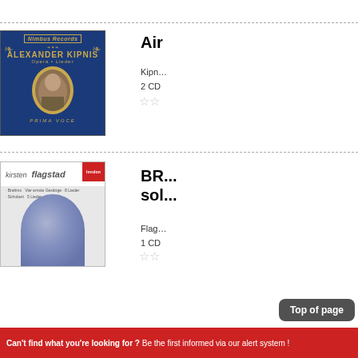[Figure (photo): Album cover for Alexander Kipnis Opera and Lieder on Nimbas Records Prima Voce, blue background with gold ornaments and portrait]
Air
Kipnis
2 CD
[Figure (photo): Album cover for Kirsten Flagstad with Brahms and Schubert Lieder on London Records, showing an artistic portrait in blue-purple tones]
BRAHMS sol
Flagstad
1 CD
Top of page
Can't find what you're looking for ? Be the first informed via our alert system !